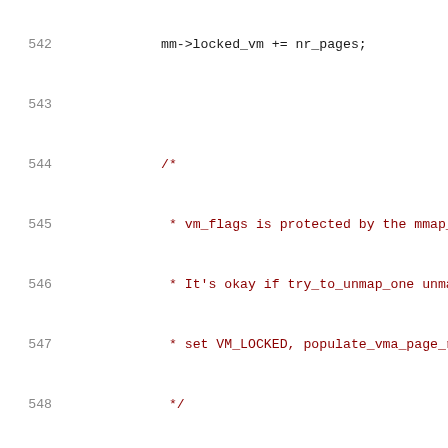Source code listing lines 542–563 of a C kernel file showing mm->locked_vm manipulation, comment about vm_flags and mmap lock, conditional lock/unlock logic, out label with return, closing brace, and start of apply_vma_lock_flags function definition.